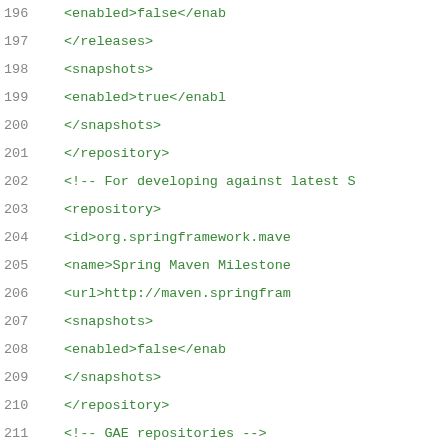196   <enabled>false</enabled>
197   </releases>
198   <snapshots>
199   <enabled>true</enabled>
200   </snapshots>
201   </repository>
202   <!-- For developing against latest S
203   <repository>
204   <id>org.springframework.mave
205   <name>Spring Maven Milestone
206   <url>http://maven.springfram
207   <snapshots>
208   <enabled>false</enabled>
209   </snapshots>
210   </repository>
211   <!-- GAE repositories -->
212   <repository>
213   <id>maven-gae-plugin-repo</id>
214   <url>http://maven-gae-plugin
215   <name>maven-gae-plugin repos
216   </repository>